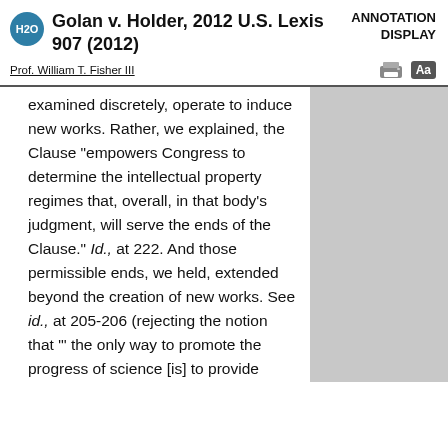Golan v. Holder, 2012 U.S. Lexis 907 (2012)
ANNOTATION DISPLAY
Prof. William T. Fisher III
examined discretely, operate to induce new works. Rather, we explained, the Clause "empowers Congress to determine the intellectual property regimes that, overall, in that body's judgment, will serve the ends of the Clause." Id., at 222. And those permissible ends, we held, extended beyond the creation of new works. See id., at 205-206 (rejecting the notion that "'the only way to promote the progress of science [is] to provide incentives to create new works'" (quoting Perlmutter, Participation in the International Copyright System as a